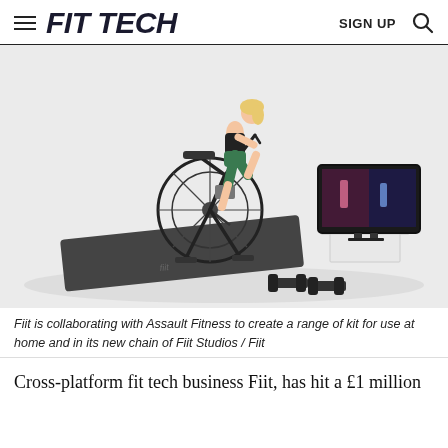FIT TECH   SIGN UP
[Figure (photo): Woman riding an Assault Fitness air bike in a white studio setting, with a Fiit exercise mat and dumbbells on the floor, and a TV screen showing a workout class on a white stand in the background.]
Fiit is collaborating with Assault Fitness to create a range of kit for use at home and in its new chain of Fiit Studios / Fiit
Cross-platform fit tech business Fiit, has hit a £1 million